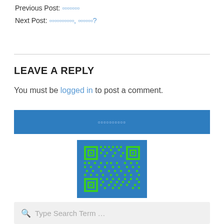Previous Post: [non-latin text]
Next Post: [non-latin text], [non-latin text]?
LEAVE A REPLY
You must be logged in to post a comment.
[non-latin text] (blue banner button)
[Figure (other): QR code image with green modules on a blue background]
Type Search Term …